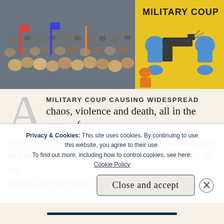[Figure (photo): Protest crowd scene with people gathered, and a yellow sign reading 'MILITARY COUP' with illustrated fists holding a weapon on the right side]
A MILITARY COUP CAUSING WIDESPREAD chaos, violence and death, all in the name of a 'true and disciplined democracy'. A humanitarian and political disaster is unfolding in Myanmar as we speak, and we must talk about it. Myanmar
Privacy & Cookies: This site uses cookies. By continuing to use this website, you agree to their use. To find out more, including how to control cookies, see here: Cookie Policy
Close and accept